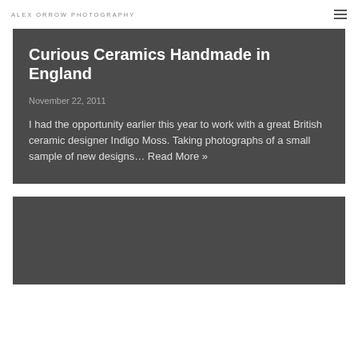ALEX ORROW PHOTOGRAPHY
Curious Ceramics Handmade in England
November 22, 2011
I had the opportunity earlier this year to work with a great British ceramic designer Indigo Moss. Taking photographs of a small sample of new designs… Read More »
[Figure (photo): Dark grey rectangular area representing a second blog post card, partially visible at the bottom of the page]